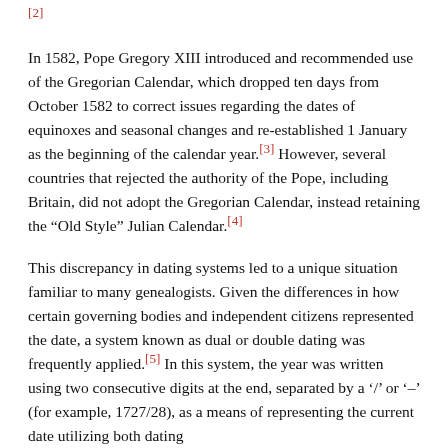[2]
In 1582, Pope Gregory XIII introduced and recommended use of the Gregorian Calendar, which dropped ten days from October 1582 to correct issues regarding the dates of equinoxes and seasonal changes and re-established 1 January as the beginning of the calendar year.[3] However, several countries that rejected the authority of the Pope, including Britain, did not adopt the Gregorian Calendar, instead retaining the “Old Style” Julian Calendar.[4]
This discrepancy in dating systems led to a unique situation familiar to many genealogists. Given the differences in how certain governing bodies and independent citizens represented the date, a system known as dual or double dating was frequently applied.[5] In this system, the year was written using two consecutive digits at the end, separated by a ‘/’ or ‘–’ (for example, 1727/28), as a means of representing the current date utilizing both dating